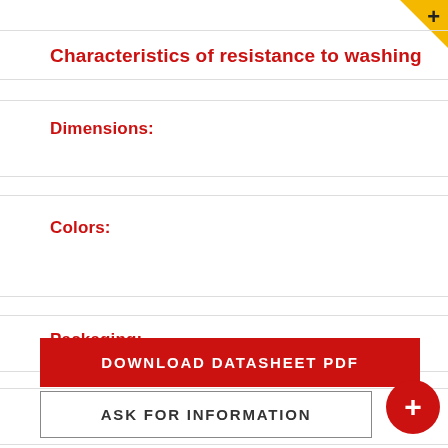Characteristics of resistance to washing
Dimensions:
Colors:
Packaging:
Reference:
DOWNLOAD DATASHEET PDF
ASK FOR INFORMATION